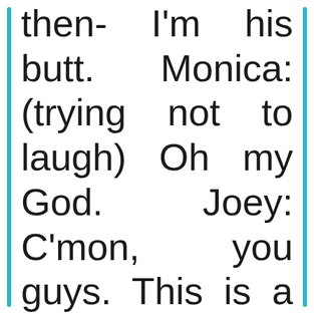then- I'm his butt. Monica: (trying not to laugh) Oh my God.    Joey: C'mon,   you guys. This is a real movie.